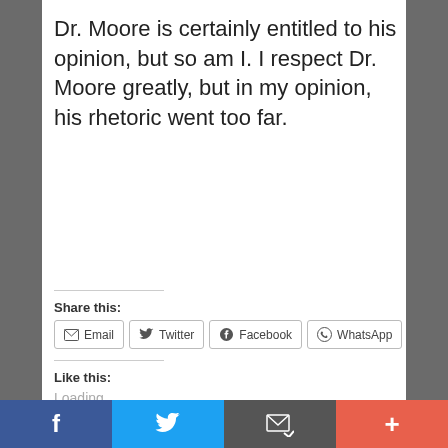Dr. Moore is certainly entitled to his opinion, but so am I. I respect Dr. Moore greatly, but in my opinion, his rhetoric went too far.
Share this:
[Figure (screenshot): Share buttons: Email, Twitter, Facebook, WhatsApp]
Like this:
Loading...
Related
[Figure (screenshot): Bottom navigation bar with Facebook, Twitter, Email, and More (+) buttons]